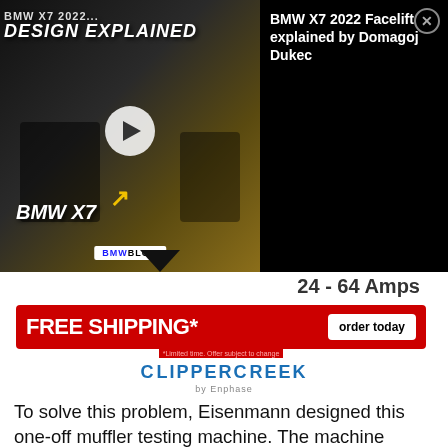[Figure (screenshot): BMW X7 2022 Design Explained video thumbnail with play button, showing BMW X7 car with text overlay 'DESIGN EXPLAINED' and 'BMW X7', with BMWBLOG branding]
BMW X7 2022 Facelift explained by Domagoj Dukec
24 - 64 Amps
[Figure (infographic): FREE SHIPPING* order today advertisement banner for ClipperCreek by Enphase. Red background with white bold text FREE SHIPPING*, white order today button, and fine print: *Limited time. Offer subject to change]
CLIPPERCREEK
by Enphase
To solve this problem, Eisenmann designed this one-off muffler testing machine. The machine accurately simulates exhaust pulses through the muffler to test flow efficiency through each muffler design based on the set ambient temperature, pressure, and other parameters.
By using this machine, Eisenmann can ensure the best possible results from all of their exhaust